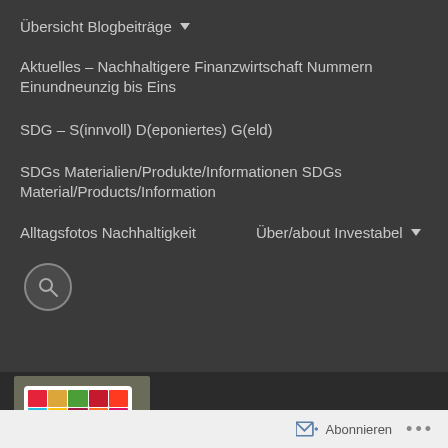Übersicht Blogbeiträge ▾
Aktuelles – Nachhaltigere Finanzwirtschaft Nummern Einundneunzig bis Eins
SDG – S(innvoll) D(eponiertes) G(eld)
SDGs Materialien/Produkte/Informationen SDGs Material/Products/Information
Alltagsfotos Nachhaltigkeit     Über/about Investabel ▾
[Figure (photo): A white square coaster or card with a grid of colorful SDG icons on a dark wooden surface, showing the 17 Sustainable Development Goals tiles in various colors.]
INVESTABEL®
Abonnieren  •••